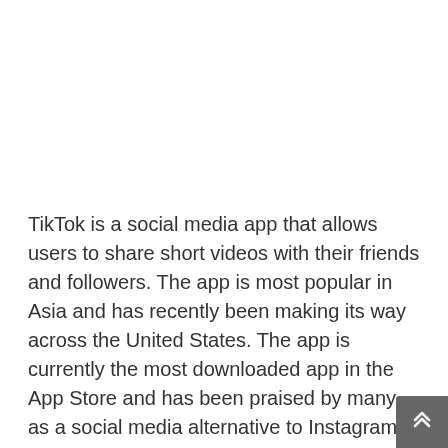TikTok is a social media app that allows users to share short videos with their friends and followers. The app is most popular in Asia and has recently been making its way across the United States. The app is currently the most downloaded app in the App Store and has been praised by many as a social media alternative to Instagram. This app is perfect for individuals who love to engage with their friends and